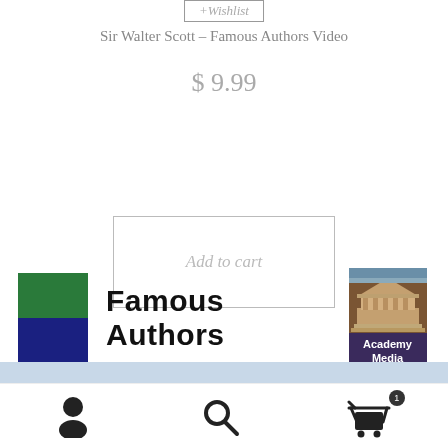[Figure (screenshot): Wishlist button at top of product page]
Sir Walter Scott – Famous Authors Video
$ 9.99
[Figure (screenshot): Add to cart button in outlined rectangle]
[Figure (logo): Famous Authors logo with green and blue squares on left, Academy Media building logo on right]
[Figure (photo): Landscape banner photo showing hills and sky]
[Figure (screenshot): Bottom navigation bar with person icon, search icon, and cart icon with badge showing 1]